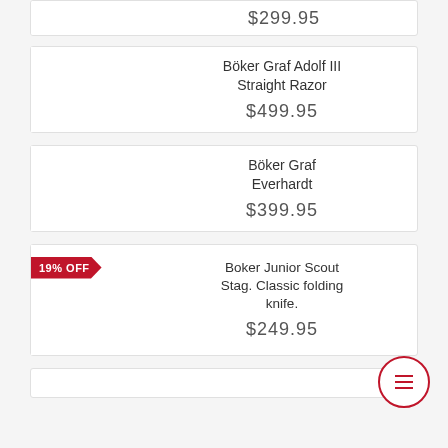$299.95
Böker Graf Adolf III Straight Razor
$499.95
Böker Graf Everhardt
$399.95
19% OFF
Boker Junior Scout Stag. Classic folding knife.
$249.95